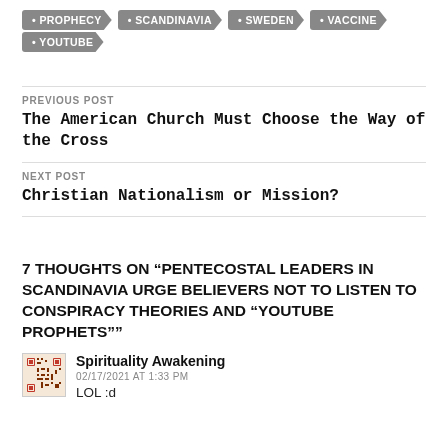PROPHECY
SCANDINAVIA
SWEDEN
VACCINE
YOUTUBE
PREVIOUS POST
The American Church Must Choose the Way of the Cross
NEXT POST
Christian Nationalism or Mission?
7 THOUGHTS ON “PENTECOSTAL LEADERS IN SCANDINAVIA URGE BELIEVERS NOT TO LISTEN TO CONSPIRACY THEORIES AND “YOUTUBE PROPHETS””
Spirituality Awakening
02/17/2021 AT 1:33 PM
LOL :d